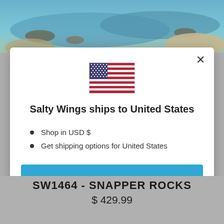[Figure (screenshot): Background aerial photo of coastline with water, rocks, and beach]
[Figure (illustration): United States flag icon]
Salty Wings ships to United States
Shop in USD $
Get shipping options for United States
Shop now
Change shipping country
SW1464 - SNAPPER ROCKS
$ 429.99